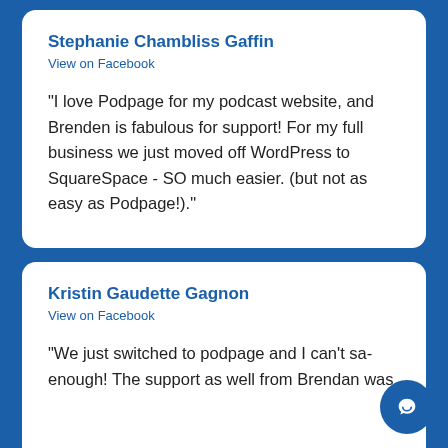Stephanie Chambliss Gaffin
View on Facebook
"I love Podpage for my podcast website, and Brenden is fabulous for support! For my full business we just moved off WordPress to SquareSpace - SO much easier. (but not as easy as Podpage!)."
Kristin Gaudette Gagnon
View on Facebook
"We just switched to podpage and I can't sa enough! The support as well from Brendan was